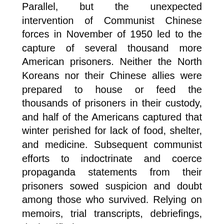Parallel, but the unexpected intervention of Communist Chinese forces in November of 1950 led to the capture of several thousand more American prisoners. Neither the North Koreans nor their Chinese allies were prepared to house or feed the thousands of prisoners in their custody, and half of the Americans captured that winter perished for lack of food, shelter, and medicine. Subsequent communist efforts to indoctrinate and coerce propaganda statements from their prisoners sowed suspicion and doubt among those who survived. Relying on memoirs, trial transcripts, debriefings, declassified government reports, published analysis, and media coverage, plus conversations, interviews, and correspondence with several dozen former prisoners, William Clark Latham Jr. seeks to correct misperceptions that still linger, six decades